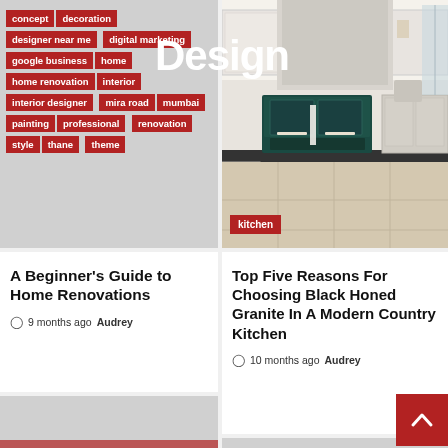[Figure (infographic): Tag cloud with red badge tags: concept, decoration, designer near me, digital marketing, google business, home, home renovation, interior, interior designer, mira road, mumbai, painting, professional, renovation, style, thane, theme]
Design
[Figure (photo): Kitchen interior photo showing dark teal Aga range cooker, light grey cabinetry, stone tile floor]
kitchen
A Beginner's Guide to Home Renovations
9 months ago  Audrey
Top Five Reasons For Choosing Black Honed Granite In A Modern Country Kitchen
10 months ago  Audrey